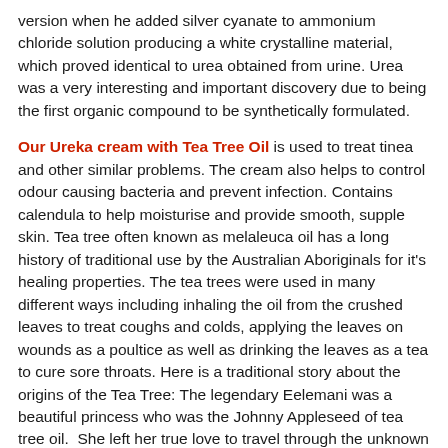version when he added silver cyanate to ammonium chloride solution producing a white crystalline material, which proved identical to urea obtained from urine. Urea was a very interesting and important discovery due to being the first organic compound to be synthetically formulated.
Our Ureka cream with Tea Tree Oil is used to treat tinea and other similar problems. The cream also helps to control odour causing bacteria and prevent infection. Contains calendula to help moisturise and provide smooth, supple skin. Tea tree often known as melaleuca oil has a long history of traditional use by the Australian Aboriginals for it's healing properties. The tea trees were used in many different ways including inhaling the oil from the crushed leaves to treat coughs and colds, applying the leaves on wounds as a poultice as well as drinking the leaves as a tea to cure sore throats. Here is a traditional story about the origins of the Tea Tree: The legendary Eelemani was a beautiful princess who was the Johnny Appleseed of tea tree oil.  She left her true love to travel through the unknown bush of New South Wales. Eelemani accompanied the inner back to her family and breed...